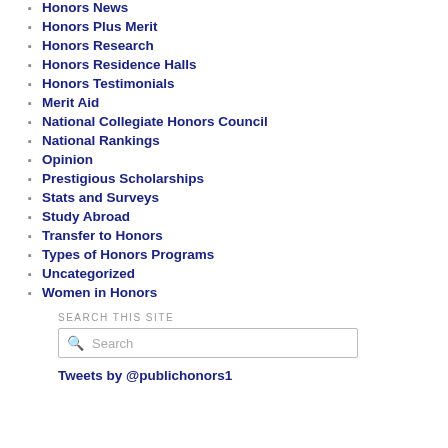Honors News
Honors Plus Merit
Honors Research
Honors Residence Halls
Honors Testimonials
Merit Aid
National Collegiate Honors Council
National Rankings
Opinion
Prestigious Scholarships
Stats and Surveys
Study Abroad
Transfer to Honors
Types of Honors Programs
Uncategorized
Women in Honors
SEARCH THIS SITE
Tweets by @publichonors1